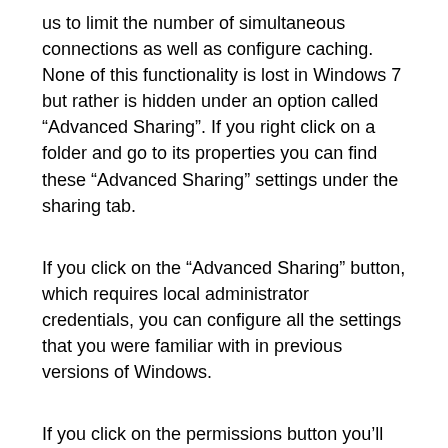us to limit the number of simultaneous connections as well as configure caching. None of this functionality is lost in Windows 7 but rather is hidden under an option called “Advanced Sharing”. If you right click on a folder and go to its properties you can find these “Advanced Sharing” settings under the sharing tab.
If you click on the “Advanced Sharing” button, which requires local administrator credentials, you can configure all the settings that you were familiar with in previous versions of Windows.
If you click on the permissions button you’ll be presented with the 3 settings that we are all familiar with.